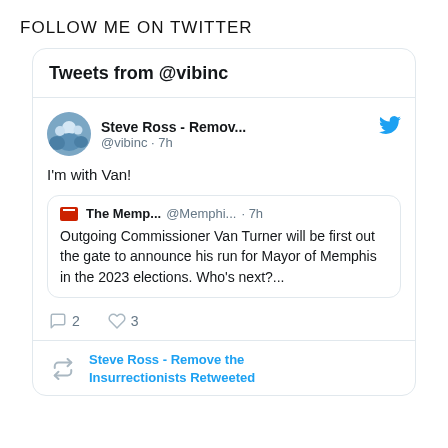FOLLOW ME ON TWITTER
Tweets from @vibinc
[Figure (screenshot): Twitter widget showing a tweet by Steve Ross - Remov... @vibinc · 7h. Tweet text: I'm with Van! Quoting The Memp... @Memphi... · 7h: Outgoing Commissioner Van Turner will be first out the gate to announce his run for Mayor of Memphis in the 2023 elections. Who's next?... Actions show 2 replies and 3 likes. Below is a retweet footer: Steve Ross - Remove the Insurrectionists Retweeted.]